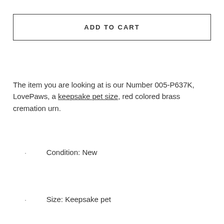ADD TO CART
The item you are looking at is our Number 005-P637K, LovePaws, a keepsake pet size, red colored brass cremation urn.
Condition: New
Size: Keepsake pet